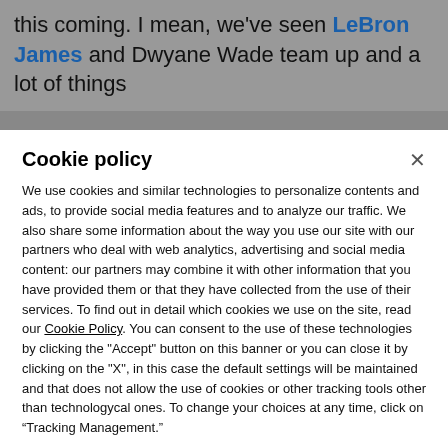this coming. I mean, we've seen LeBron James and Dwyane Wade team up and a lot of things
Cookie policy
We use cookies and similar technologies to personalize contents and ads, to provide social media features and to analyze our traffic. We also share some information about the way you use our site with our partners who deal with web analytics, advertising and social media content: our partners may combine it with other information that you have provided them or that they have collected from the use of their services. To find out in detail which cookies we use on the site, read our Cookie Policy. You can consent to the use of these technologies by clicking the "Accept" button on this banner or you can close it by clicking on the "X", in this case the default settings will be maintained and that does not allow the use of cookies or other tracking tools other than technologycal ones. To change your choices at any time, click on “Tracking Management.”
ACCEPT
TRACKERS MANAGEMENT
Show vendors | Show purposes